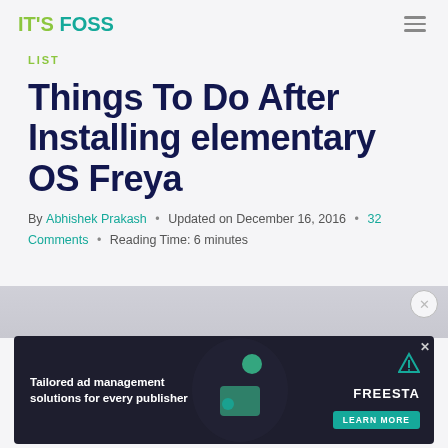IT'S FOSS
LIST
Things To Do After Installing elementary OS Freya
By Abhishek Prakash • Updated on December 16, 2016 • 32 Comments • Reading Time: 6 minutes
[Figure (screenshot): Advertisement banner: Tailored ad management solutions for every publisher — FREESTA, LEARN MORE button. Dark background with illustrated figure.]